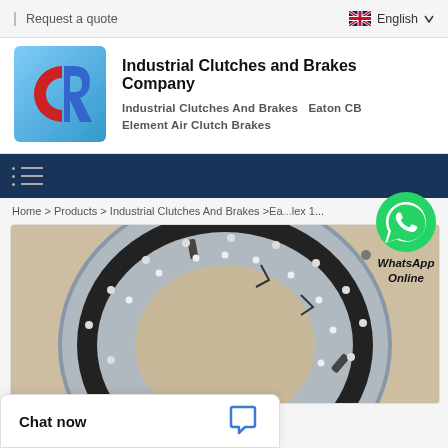Request a quote | English
Industrial Clutches and Brakes Company
Industrial Clutches And Brakes  Eaton CB Element Air Clutch Brakes
[Figure (logo): SR company logo — red C and blue R letters on light blue square background]
Home > Products > Industrial Clutches And Brakes > Ea... lex 1...
[Figure (photo): Industrial clutch/brake ring component — circular metal ring with black lining and bolt holes, photographed on cardboard background]
[Figure (other): WhatsApp Online green circle chat icon with phone symbol and label 'WhatsApp Online']
Chat now